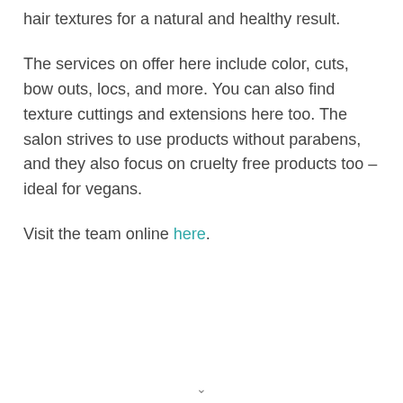hair textures for a natural and healthy result.
The services on offer here include color, cuts, bow outs, locs, and more. You can also find texture cuttings and extensions here too. The salon strives to use products without parabens, and they also focus on cruelty free products too – ideal for vegans.
Visit the team online here.